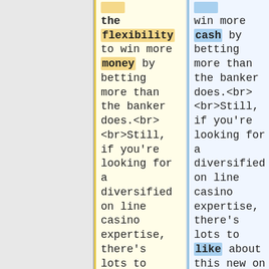the flexibility to win more money by betting more than the banker does.<br><br>Still, if you're looking for a diversified on line casino expertise, there's lots to love about this new on line
win more cash by betting more than the banker does.<br><br>Still, if you're looking for a diversified on line casino expertise, there's lots to like about this new on line casino. It has more